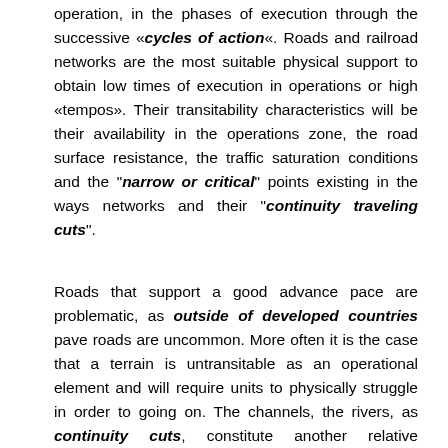operation, in the phases of execution through the successive «cycles of action«. Roads and railroad networks are the most suitable physical support to obtain low times of execution in operations or high «tempos». Their transitability characteristics will be their availability in the operations zone, the road surface resistance, the traffic saturation conditions and the "narrow or critical" points existing in the ways networks and their "continuity traveling cuts".
Roads that support a good advance pace are problematic, as outside of developed countries pave roads are uncommon. More often it is the case that a terrain is untransitable as an operational element and will require units to physically struggle in order to going on. The channels, the rivers, as continuity cuts, constitute another relative conditioner of the transitability of a zone. On one